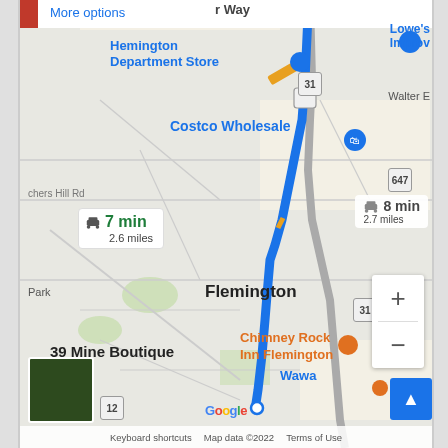[Figure (map): Google Maps screenshot showing driving directions from 39 Mine Boutique to a destination near Hemington Department Store in Flemington, NJ area. Blue route line shown with traffic indicators. Two route options displayed: primary route 7 min 2.6 miles, alternate route 8 min 2.7 miles.]
More options
r Way
Hemington Department Store
Lowe's Improv
Walter E
Costco Wholesale
647
31
7 min
2.6 miles
8 min
2.7 miles
Flemington
31
Chimney Rock Inn Flemington
39 Mine Boutique
Park
Wawa
12
Google
Keyboard shortcuts   Map data ©2022   Terms of Use